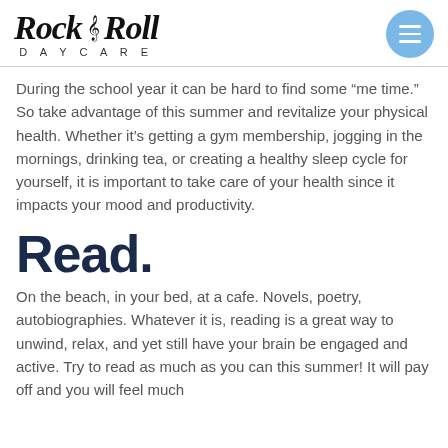Rock & Roll Daycare
During the school year it can be hard to find some “me time.” So take advantage of this summer and revitalize your physical health. Whether it’s getting a gym membership, jogging in the mornings, drinking tea, or creating a healthy sleep cycle for yourself, it is important to take care of your health since it impacts your mood and productivity.
Read.
On the beach, in your bed, at a cafe. Novels, poetry, autobiographies. Whatever it is, reading is a great way to unwind, relax, and yet still have your brain be engaged and active. Try to read as much as you can this summer! It will pay off and you will feel much